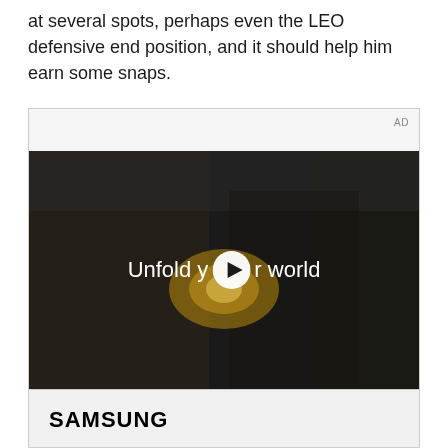at several spots, perhaps even the LEO defensive end position, and it should help him earn some snaps.
[Figure (screenshot): Advertisement containing a Samsung video ad. Shows a woman in a car holding a foldable Samsung phone with text 'Unfold your world' and a play button overlay. The Samsung logo appears at the bottom of the ad unit. 'AD' label in top right corner.]